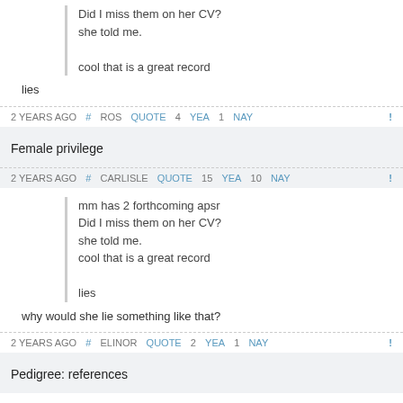Did I miss them on her CV?
she told me.

cool that is a great record
lies
2 YEARS AGO # ROS QUOTE 4 YEA 1 NAY
Female privilege
2 YEARS AGO # CARLISLE QUOTE 15 YEA 10 NAY
mm has 2 forthcoming apsr
Did I miss them on her CV?
she told me.
cool that is a great record

lies
why would she lie something like that?
2 YEARS AGO # ELINOR QUOTE 2 YEA 1 NAY
Pedigree: references